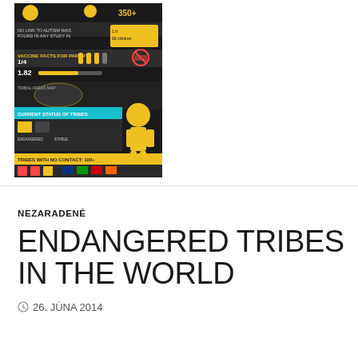[Figure (infographic): Dark-themed infographic thumbnail about endangered tribes in the world, featuring yellow and black color scheme with statistics, icons of people, maps, and various data visualizations about tribal populations worldwide.]
NEZARADENÉ
ENDANGERED TRIBES IN THE WORLD
26. JÚNA 2014